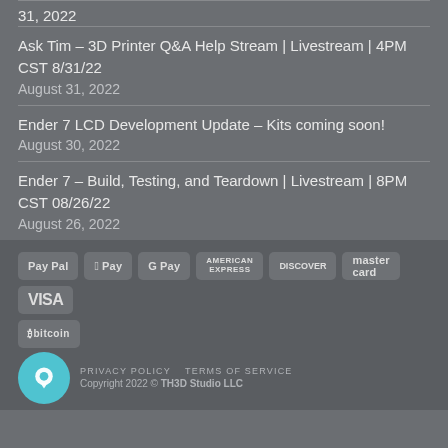31, 2022
Ask Tim – 3D Printer Q&A Help Stream | Livestream | 4PM CST 8/31/22
August 31, 2022
Ender 7 LCD Development Update – Kits coming soon!
August 30, 2022
Ender 7 – Build, Testing, and Teardown | Livestream | 8PM CST 08/26/22
August 26, 2022
[Figure (other): Payment method icons: PayPal, Apple Pay, G Pay, American Express, Discover, MasterCard, VISA, Bitcoin]
PRIVACY POLICY   TERMS OF SERVICE
Copyright 2022 © TH3D Studio LLC